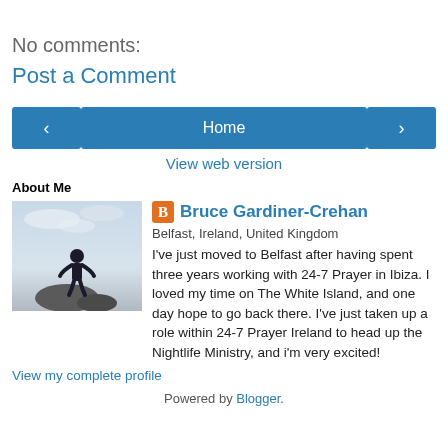No comments:
Post a Comment
[Figure (other): Navigation row with left arrow button, Home button, and right arrow button]
View web version
About Me
[Figure (photo): Silhouette of a person standing on rocks against a cloudy sky]
Bruce Gardiner-Crehan
Belfast, Ireland, United Kingdom
I've just moved to Belfast after having spent three years working with 24-7 Prayer in Ibiza. I loved my time on The White Island, and one day hope to go back there. I've just taken up a role within 24-7 Prayer Ireland to head up the Nightlife Ministry, and i'm very excited!
View my complete profile
Powered by Blogger.